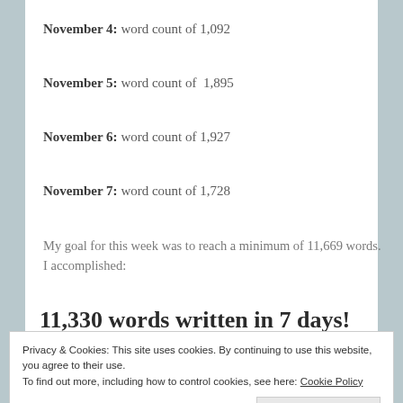November 4: word count of 1,092
November 5: word count of  1,895
November 6: word count of 1,927
November 7: word count of 1,728
My goal for this week was to reach a minimum of 11,669 words. I accomplished:
11,330 words written in 7 days!
Privacy & Cookies: This site uses cookies. By continuing to use this website, you agree to their use.
To find out more, including how to control cookies, see here: Cookie Policy
Close and accept